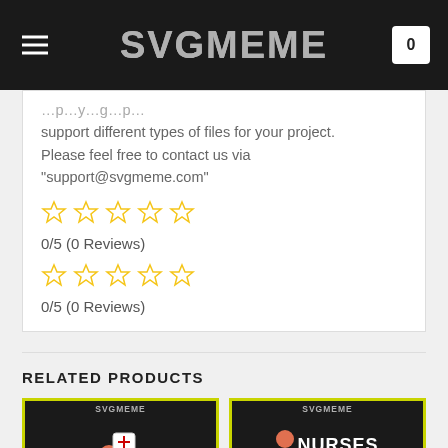SVGMEME
support different types of files for your project. Please feel free to contact us via “support@svgmeme.com”
0/5 (0 Reviews)
0/5 (0 Reviews)
RELATED PRODUCTS
[Figure (screenshot): Two SVGMEME product cards with yellow-green borders on dark backgrounds]
[Figure (screenshot): SVGMEME Nurses product card with yellow-green border]